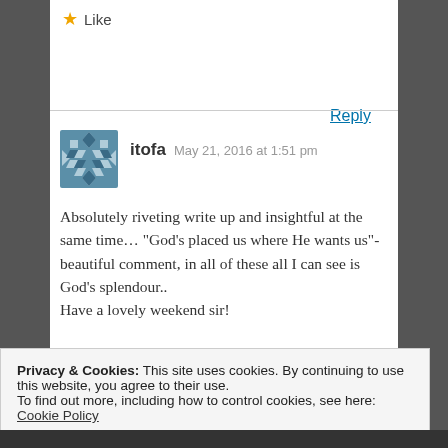★ Like
Reply
[Figure (illustration): User avatar icon with a blue geometric diamond/checker pattern]
itofa  May 21, 2016 at 1:51 pm
Absolutely riveting write up and insightful at the same time… "God's placed us where He wants us"- beautiful comment, in all of these all I can see is God's splendour.. Have a lovely weekend sir!
Privacy & Cookies: This site uses cookies. By continuing to use this website, you agree to their use.
To find out more, including how to control cookies, see here: Cookie Policy
Close and accept